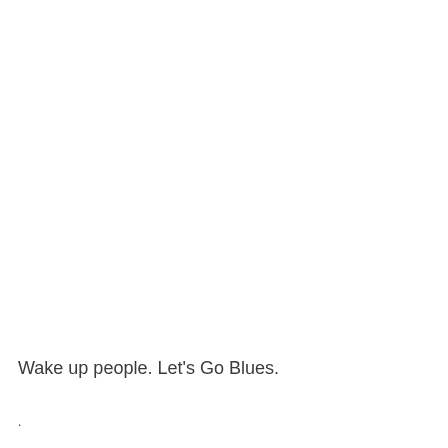Wake up people. Let's Go Blues.
.